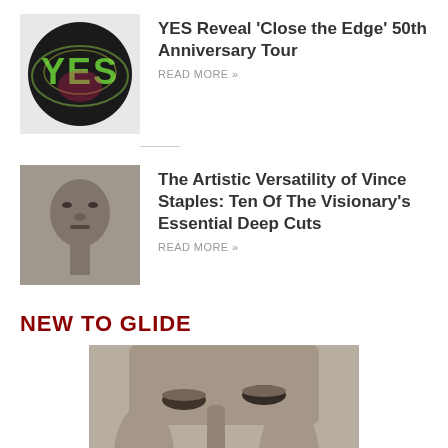[Figure (photo): YES band logo with colorful psychedelic design]
YES Reveal 'Close the Edge' 50th Anniversary Tour
READ MORE »
[Figure (photo): Black and white close-up portrait of Vince Staples]
The Artistic Versatility of Vince Staples: Ten Of The Visionary's Essential Deep Cuts
READ MORE »
NEW TO GLIDE
[Figure (photo): Large black and white close-up portrait of a person's face]